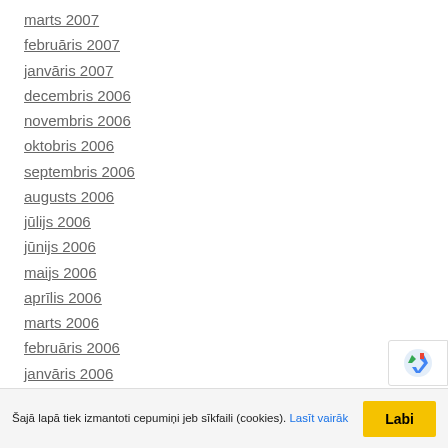marts 2007
februāris 2007
janvāris 2007
decembris 2006
novembris 2006
oktobris 2006
septembris 2006
augusts 2006
jūlijs 2006
jūnijs 2006
maijs 2006
aprīlis 2006
marts 2006
februāris 2006
janvāris 2006
decembris 2005
novembris 2005
Šajā lapā tiek izmantoti cepumiņi jeb sīkfaili (cookies). Lasīt vairāk